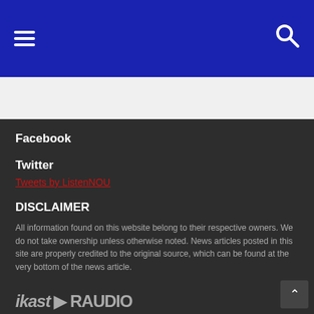[Figure (screenshot): Website header navigation bar with dark blue background, hamburger menu icon on left and search icon on right]
Facebook
Twitter
Tweets by ListenNOU
DISCLAIMER
All information found on this website belong to their respective owners. We do not take ownership unless otherwise noted. News articles posted in this site are properly credited to the original source, which can be found at the very bottom of the news article.
[Figure (logo): ikast RAUDIO logo in grey/white text at bottom of page]